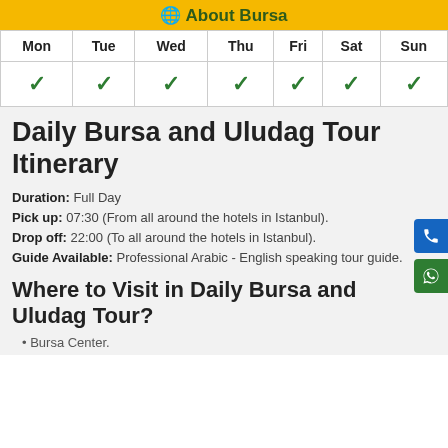About Bursa
| Mon | Tue | Wed | Thu | Fri | Sat | Sun |
| --- | --- | --- | --- | --- | --- | --- |
| ✓ | ✓ | ✓ | ✓ | ✓ | ✓ | ✓ |
Daily Bursa and Uludag Tour Itinerary
Duration: Full Day
Pick up: 07:30 (From all around the hotels in Istanbul).
Drop off: 22:00 (To all around the hotels in Istanbul).
Guide Available: Professional Arabic - English speaking tour guide.
Where to Visit in Daily Bursa and Uludag Tour?
Bursa Center.